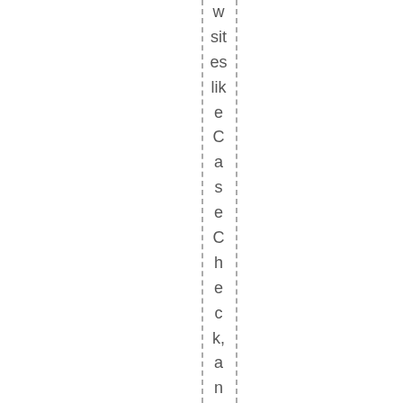w sites like CaseCheck, and stay updated on other